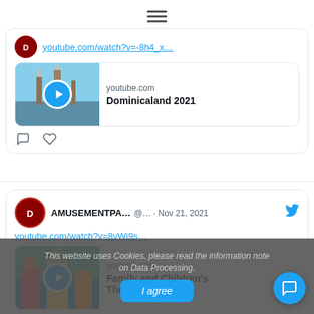[Figure (screenshot): Hamburger menu icon (three horizontal lines) at top center of page]
youtube.com/watch?v=-8h4_x…
[Figure (screenshot): YouTube video preview card: thumbnail of an amusement park scene with a play button, showing 'youtube.com' and title 'Dominicaland 2021']
AMUSEMENTPA… @… · Nov 21, 2021
youtube.com/watch?v=8vWj9s…
[Figure (screenshot): YouTube video preview card: colorful water park thumbnail with play button, showing 'youtube.com' and title 'Family and Children's Thematic Reel']
This website uses Cookies, please read the information note on Data Processing.
I agree